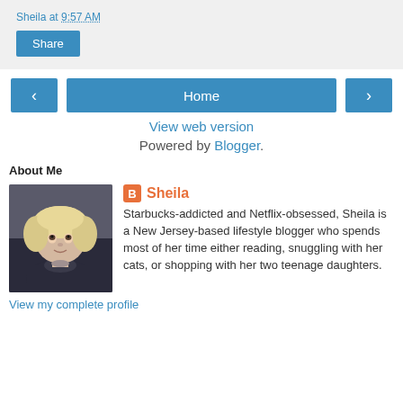Sheila at 9:57 AM
Share
Home
View web version
Powered by Blogger.
About Me
Sheila
Starbucks-addicted and Netflix-obsessed, Sheila is a New Jersey-based lifestyle blogger who spends most of her time either reading, snuggling with her cats, or shopping with her two teenage daughters.
View my complete profile